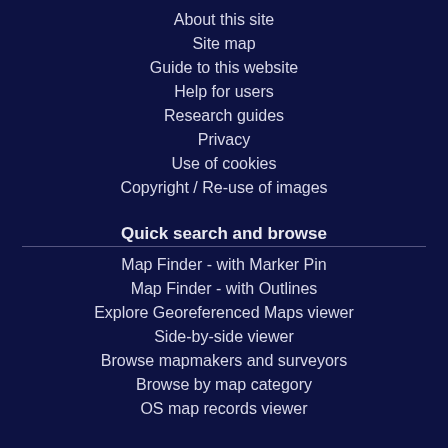About this site
Site map
Guide to this website
Help for users
Research guides
Privacy
Use of cookies
Copyright / Re-use of images
Quick search and browse
Map Finder - with Marker Pin
Map Finder - with Outlines
Explore Georeferenced Maps viewer
Side-by-side viewer
Browse mapmakers and surveyors
Browse by map category
OS map records viewer